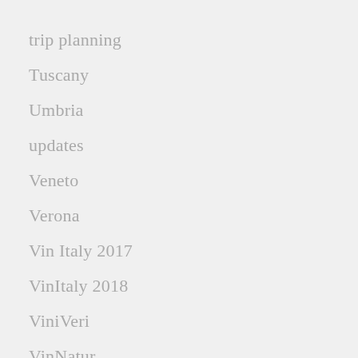trip planning
Tuscany
Umbria
updates
Veneto
Verona
Vin Italy 2017
VinItaly 2018
ViniVeri
VinNatur
Vittoria